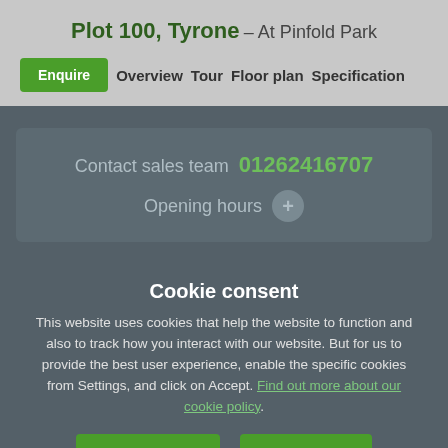Plot 100, Tyrone – At Pinfold Park
Enquire  Overview  Tour  Floor plan  Specification
Contact sales team 01262416707
Opening hours +
Cookie consent
This website uses cookies that help the website to function and also to track how you interact with our website. But for us to provide the best user experience, enable the specific cookies from Settings, and click on Accept. Find out more about our cookie policy.
Preferences  Accept All